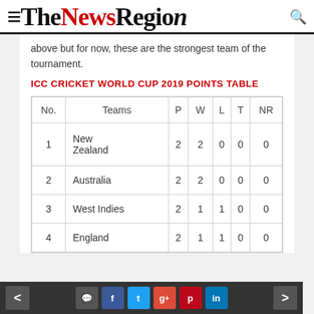TheNewsRegion
above but for now, these are the strongest team of the tournament.
ICC CRICKET WORLD CUP 2019 POINTS TABLE
| No. | Teams | P | W | L | T | NR |
| --- | --- | --- | --- | --- | --- | --- |
| 1 | New Zealand | 2 | 2 | 0 | 0 | 0 |
| 2 | Australia | 2 | 2 | 0 | 0 | 0 |
| 3 | West Indies | 2 | 1 | 1 | 0 | 0 |
| 4 | England | 2 | 1 | 1 | 0 | 0 |